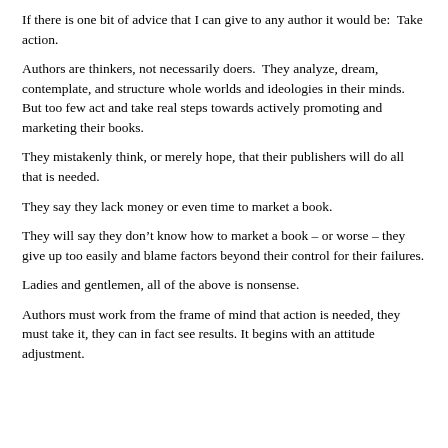If there is one bit of advice that I can give to any author it would be:  Take action.
Authors are thinkers, not necessarily doers.  They analyze, dream, contemplate, and structure whole worlds and ideologies in their minds.  But too few act and take real steps towards actively promoting and marketing their books.
They mistakenly think, or merely hope, that their publishers will do all that is needed.
They say they lack money or even time to market a book.
They will say they don't know how to market a book – or worse – they give up too easily and blame factors beyond their control for their failures.
Ladies and gentlemen, all of the above is nonsense.
Authors must work from the frame of mind that action is needed, they must take it, they can in fact see results. It begins with an attitude adjustment.